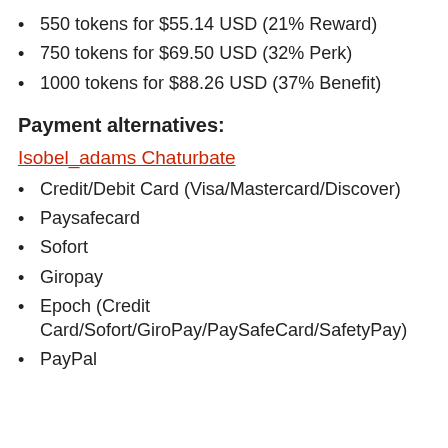550 tokens for $55.14 USD (21% Reward)
750 tokens for $69.50 USD (32% Perk)
1000 tokens for $88.26 USD (37% Benefit)
Payment alternatives:
Isobel_adams Chaturbate
Credit/Debit Card (Visa/Mastercard/Discover)
Paysafecard
Sofort
Giropay
Epoch (Credit Card/Sofort/GiroPay/PaySafeCard/SafetyPay)
PayPal